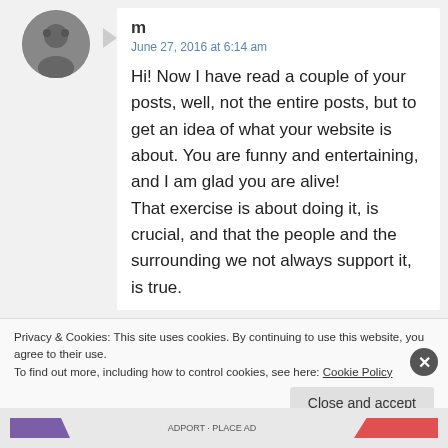[Figure (photo): User avatar photo showing a grey circular profile image]
m
June 27, 2016 at 6:14 am
Hi! Now I have read a couple of your posts, well, not the entire posts, but to get an idea of what your website is about. You are funny and entertaining, and I am glad you are alive!
That exercise is about doing it, is crucial, and that the people and the surrounding we not always support it, is true.
Privacy & Cookies: This site uses cookies. By continuing to use this website, you agree to their use.
To find out more, including how to control cookies, see here: Cookie Policy
Close and accept